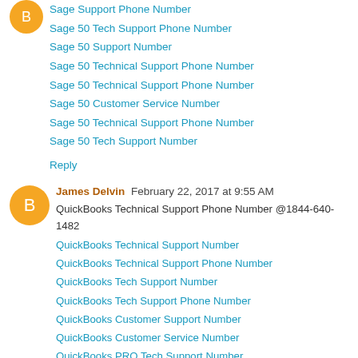Sage Support Phone Number
Sage 50 Tech Support Phone Number
Sage 50 Support Number
Sage 50 Technical Support Phone Number
Sage 50 Technical Support Phone Number
Sage 50 Customer Service Number
Sage 50 Technical Support Phone Number
Sage 50 Tech Support Number
Reply
James Delvin  February 22, 2017 at 9:55 AM
QuickBooks Technical Support Phone Number @1844-640-1482
QuickBooks Technical Support Number
QuickBooks Technical Support Phone Number
QuickBooks Tech Support Number
QuickBooks Tech Support Phone Number
QuickBooks Customer Support Number
QuickBooks Customer Service Number
QuickBooks PRO Tech Support Number
QuickBooks PRO Technical Support Number